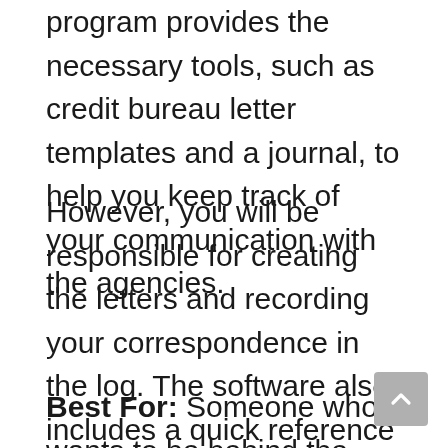program provides the necessary tools, such as credit bureau letter templates and a journal, to help you keep track of your communication with the agencies.
However, you will be responsible for creating the letters and recording your correspondence in the log. The software also includes a quick reference guide to your federally protected borrower rights.
Best For: Someone who wants to be behind the wheel but needs some